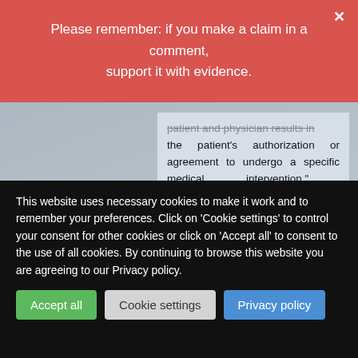Please remember: if you make a claim in a comment, support it with evidence.
patient and physician results in the patient's authorization or agreement to undergo a specific medical intervention." https://www.ama-assn.org/delivering-care/ethics/informed-consent
has on Saturday 20 November 2021 at 14:06
This website uses necessary cookies to make it work and to remember your preferences. Click on 'Cookie settings' to control your consent for other cookies or click on 'Accept all' to consent to the use of all cookies. By continuing to browse this website you are agreeing to our Privacy policy.
Accept all
Cookie settings
Privacy policy